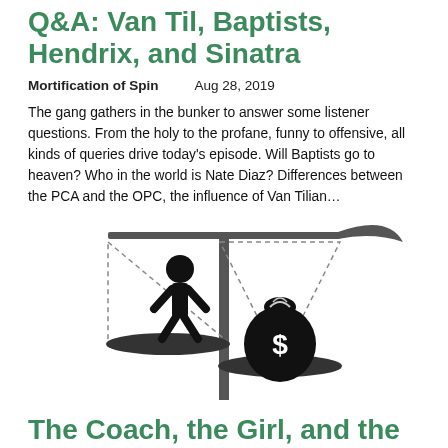Q&A: Van Til, Baptists, Hendrix, and Sinatra
Mortification of Spin    Aug 28, 2019
The gang gathers in the bunker to answer some listener questions. From the holy to the profane, funny to offensive, all kinds of queries drive today's episode. Will Baptists go to heaven? Who in the world is Nate Diaz? Differences between the PCA and the OPC, the influence of Van Tilian...
[Figure (illustration): A balance scale illustration showing a human figure on the left pan and a money bag with a dollar sign on the right pan, with a vertical pole in the center. Each pan is framed by a dashed-line triangle. The left pan is raised higher, right pan lower weighted by the money bag.]
The Coach, the Girl, and the Pastor